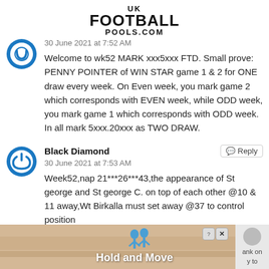UK FOOTBALL POOLS.COM
30 June 2021 at 7:52 AM
Welcome to wk52 MARK xxx5xxx FTD. Small prove: PENNY POINTER of WIN STAR game 1 & 2 for ONE draw every week. On Even week, you mark game 2 which corresponds with EVEN week, while ODD week, you mark game 1 which corresponds with ODD week. In all mark 5xxx.20xxx as TWO DRAW.
Black Diamond
30 June 2021 at 7:53 AM
Week52,nap 21***26***43,the appearance of St george and St george C. on top of each other @10 & 11 away,Wt Birkalla must set away @37 to control position
[Figure (other): Advertisement banner with 'Hold and Move' text and figure icons]